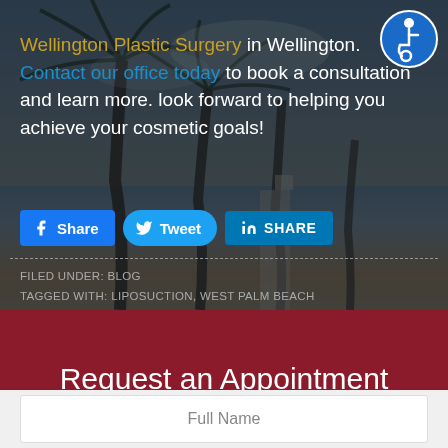Wellington Plastic Surgery in Wellington. Contact our office today to book a consultation and learn more. look forward to helping you achieve your cosmetic goals!
[Figure (other): Accessibility icon - circular blue badge with wheelchair user symbol]
[Figure (other): Social share buttons: Facebook Share, Twitter Tweet, LinkedIn SHARE]
FILED UNDER: BLOG
TAGGED WITH: LIPOSUCTION, WEST PALM BEACH
Request an Appointment
Full Name